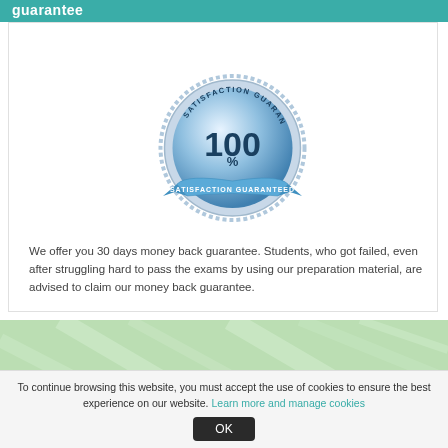guarantee
[Figure (illustration): Blue/silver satisfaction guaranteed badge with '100%' text and ribbon reading 'SATISFACTION GUARANTEED']
We offer you 30 days money back guarantee. Students, who got failed, even after struggling hard to pass the exams by using our preparation material, are advised to claim our money back guarantee.
[Figure (illustration): Green decorative band with diagonal light streaks]
To continue browsing this website, you must accept the use of cookies to ensure the best experience on our website. Learn more and manage cookies